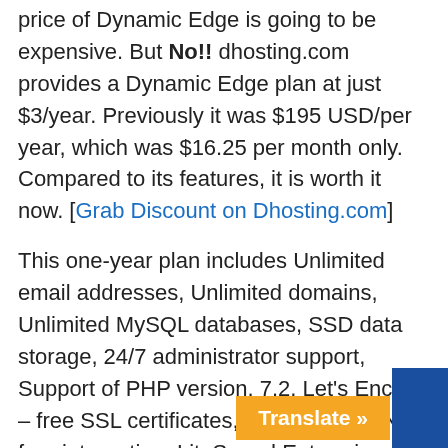price of Dynamic Edge is going to be expensive. But No!! dhosting.com provides a Dynamic Edge plan at just $3/year. Previously it was $195 USD/per year, which was $16.25 per month only. Compared to its features, it is worth it now. [Grab Discount on Dhosting.com]
This one-year plan includes Unlimited email addresses, Unlimited domains, Unlimited MySQL databases, SSD data storage, 24/7 administrator support, Support of PHP version. 7.2, Let's Encrypt – free SSL certificates, Cloudflare CDN – free integration, LiteSpeed Enterprise Web Server with LiteSpeed Cache support, Automatic application installer (WordPress, PrestaShop, Joomla, etc.).
One more best thing is that you can...